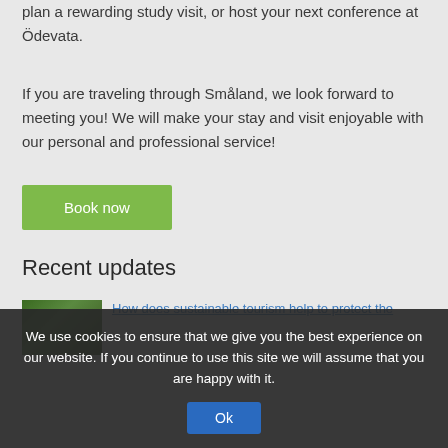plan a rewarding study visit, or host your next conference at Ödevata.
If you are traveling through Småland, we look forward to meeting you! We will make your stay and visit enjoyable with our personal and professional service!
[Figure (other): Green 'Book now' button]
Recent updates
[Figure (photo): Small thumbnail photo of green foliage/nature scene]
How does sustainable tourism help to protect the
We use cookies to ensure that we give you the best experience on our website. If you continue to use this site we will assume that you are happy with it.